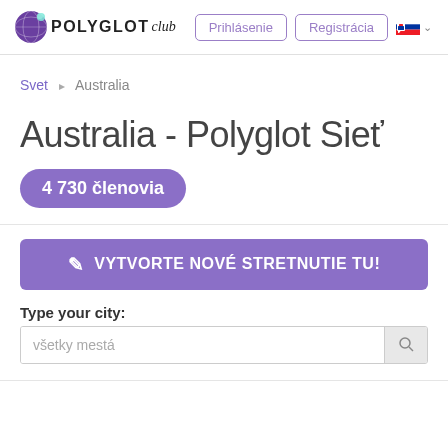POLYGLOT club | Prihlásenie | Registrácia
Svet › Australia
Australia - Polyglot Sieť
4 730 členovia
✎ VYTVORTE NOVÉ STRETNUTIE TU!
Type your city:
všetky mestá